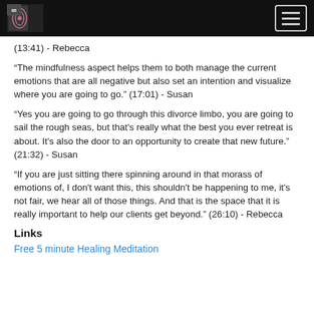Betrayal to Breakthrough podcast logo and navigation menu
(13:41) - Rebecca
“The mindfulness aspect helps them to both manage the current emotions that are all negative but also set an intention and visualize where you are going to go.” (17:01) - Susan
“Yes you are going to go through this divorce limbo, you are going to sail the rough seas, but that’s really what the best you ever retreat is about. It’s also the door to an opportunity to create that new future.” (21:32) - Susan
“If you are just sitting there spinning around in that morass of emotions of, I don’t want this, this shouldn’t be happening to me, it’s not fair, we hear all of those things. And that is the space that it is really important to help our clients get beyond.” (26:10) - Rebecca
Links
Free 5 minute Healing Meditation